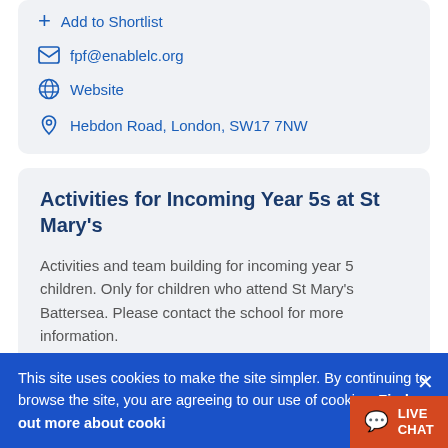+ Add to Shortlist
fpf@enablelc.org
Website
Hebdon Road, London, SW17 7NW
Activities for Incoming Year 5s at St Mary's
Activities and team building for incoming year 5 children. Only for children who attend St Mary's Battersea. Please contact the school for more information.
This site uses cookies to make the site simpler. By continuing to browse the site, you are agreeing to our use of cookies. Find out more about cookies